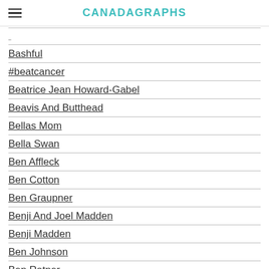CANADAGRAPHS
(partial item at top, clipped)
Bashful
#beatcancer
Beatrice Jean Howard-Gabel
Beavis And Butthead
Bellas Mom
Bella Swan
Ben Affleck
Ben Cotton
Ben Graupner
Benji And Joel Madden
Benji Madden
Ben Johnson
Ben Ratner
Best Action-drama